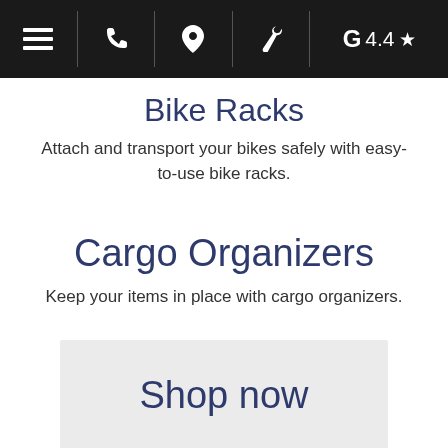Navigation bar with menu, phone, location, wrench, and G 4.4 star rating
Bike Racks
Attach and transport your bikes safely with easy-to-use bike racks.
Cargo Organizers
Keep your items in place with cargo organizers.
Shop now